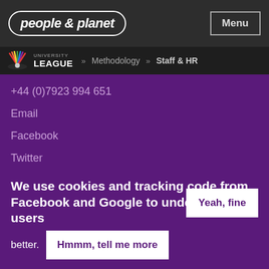people & planet
University League » Methodology » Staff & HR
+44 (0)7923 994 651
Email
Facebook
Twitter
Instagram
People & Planet
3 The Old Estate High Street,
We use cookies and tracking code from Facebook and Google to understand our users
better.
Hmmm, tell me more
Yeah, fine